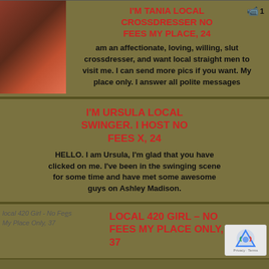I'M TANIA LOCAL CROSSDRESSER NO FEES MY PLACE, 24
I am an affectionate, loving, willing, slut crossdresser, and want local straight men to visit me. I can send more pics if you want. My place only. I answer all polite messages
I'M URSULA LOCAL SWINGER. I HOST NO FEES X, 24
HELLO. I am Ursula, I'm glad that you have clicked on me. I've been in the swinging scene for some time and have met some awesome guys on Ashley Madison.
LOCAL 420 GIRL – NO FEES MY PLACE ONLY, 37
Local 420 Girl - No Fees My Place Only, 37